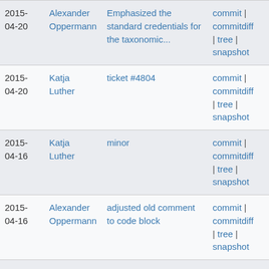| Date | Author | Message | Links |
| --- | --- | --- | --- |
| 2015-04-20 | Alexander Oppermann | Emphasized the standard credentials for the taxonomic... | commit | commitdiff | tree | snapshot |
| 2015-04-20 | Katja Luther | ticket #4804 | commit | commitdiff | tree | snapshot |
| 2015-04-16 | Katja Luther | minor | commit | commitdiff | tree | snapshot |
| 2015-04-16 | Alexander Oppermann | adjusted old comment to code block | commit | commitdiff | tree | snapshot |
| 2015-04-16 | Alexander Oppermann | Fixed Ticket #4557 | commit | commitdiff | tree | snapshot |
| 2015-04-16 | Alexander | Fix issue #3656 | commit | |